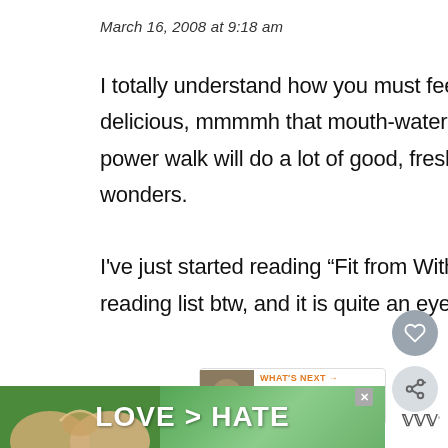March 16, 2008 at 9:18 am
I totally understand how you must feel today but the food looks SO delicious, mmmmh that mouth-watering chocolate! I'll bet that power walk will do a lot of good, fresh air and motion usually work wonders.

I've just started reading “Fit from Within” from your recommended reading list btw, and it is quite an eye-opener. I'm gl… it.
[Figure (infographic): LOVE > HATE advertisement banner with hands forming a heart shape against green background. An X close button is visible. A share/next widget shows 'WHAT'S NEXT' with 'Working Lunch' label and thumbnail.]